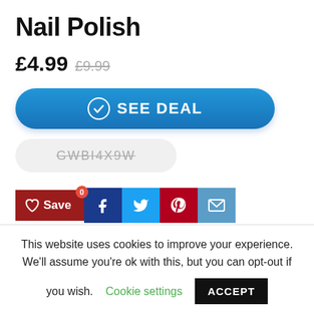Nail Polish
£4.99  £9.99
[Figure (other): Blue 'SEE DEAL' button with checkmark circle icon]
GWBI4X9W
[Figure (other): Social sharing buttons: Save (heart), Facebook, Twitter, Pinterest, Email]
This website uses cookies to improve your experience. We'll assume you're ok with this, but you can opt-out if you wish. Cookie settings  ACCEPT